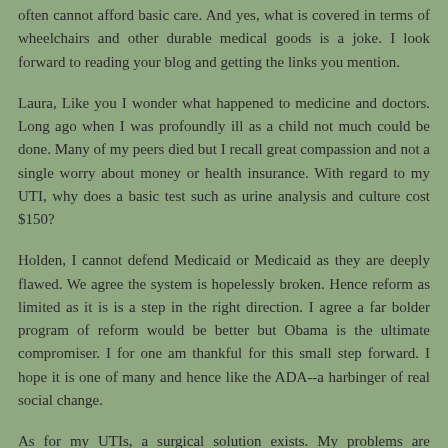often cannot afford basic care. And yes, what is covered in terms of wheelchairs and other durable medical goods is a joke. I look forward to reading your blog and getting the links you mention.
Laura, Like you I wonder what happened to medicine and doctors. Long ago when I was profoundly ill as a child not much could be done. Many of my peers died but I recall great compassion and not a single worry about money or health insurance. With regard to my UTI, why does a basic test such as urine analysis and culture cost $150?
Holden, I cannot defend Medicaid or Medicaid as they are deeply flawed. We agree the system is hopelessly broken. Hence reform as limited as it is is a step in the right direction. I agree a far bolder program of reform would be better but Obama is the ultimate compromiser. I for one am thankful for this small step forward. I hope it is one of many and hence like the ADA--a harbinger of real social change.
As for my UTIs, a surgical solution exists. My problems are temporary and will be resolved.
Reply